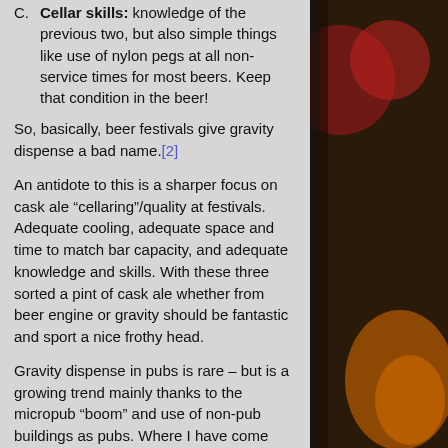C. Cellar skills: knowledge of the previous two, but also simple things like use of nylon pegs at all non-service times for most beers. Keep that condition in the beer!
So, basically, beer festivals give gravity dispense a bad name.[2]
An antidote to this is a sharper focus on cask ale “cellaring”/quality at festivals. Adequate cooling, adequate space and time to match bar capacity, and adequate knowledge and skills. With these three sorted a pint of cask ale whether from beer engine or gravity should be fantastic and sport a nice frothy head.
Gravity dispense in pubs is rare – but is a growing trend mainly thanks to the micropub “boom” and use of non-pub buildings as pubs. Where I have come across it it usually suffers the same problems as